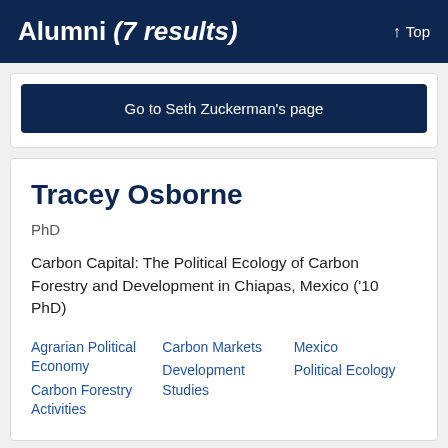Alumni (7 results)   ↑ Top
Go to Seth Zuckerman's page
Tracey Osborne
PhD
Carbon Capital: The Political Ecology of Carbon Forestry and Development in Chiapas, Mexico ('10 PhD)
Agrarian Political Economy
Carbon Markets
Mexico
Carbon Forestry Activities
Development Studies
Political Ecology